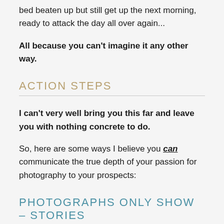bed beaten up but still get up the next morning, ready to attack the day all over again...
All because you can't imagine it any other way.
ACTION STEPS
I can't very well bring you this far and leave you with nothing concrete to do.
So, here are some ways I believe you can communicate the true depth of your passion for photography to your prospects:
PHOTOGRAPHS ONLY SHOW – STORIES